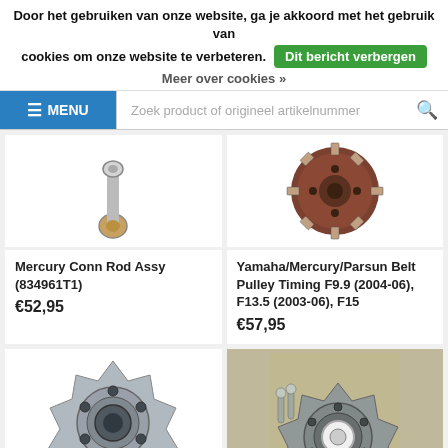Door het gebruiken van onze website, ga je akkoord met het gebruik van cookies om onze website te verbeteren. Dit bericht verbergen
Meer over cookies »
≡ MENU   Zoek product of origineel artikelnummer
[Figure (photo): Mercury Conn Rod Assy product photo - connecting rod with brass end]
Mercury Conn Rod Assy (834961T1)
€52,95
[Figure (photo): Yamaha/Mercury/Parsun Belt Pulley Timing product photo - brown circular pulley with teeth]
Yamaha/Mercury/Parsun Belt Pulley Timing F9.9 (2004-06), F13.5 (2003-06), F15
€57,95
[Figure (photo): Metal hub/flange part with circular holes - bottom left product]
[Figure (photo): Hub assembly with bolts and center bearing - bottom right product]